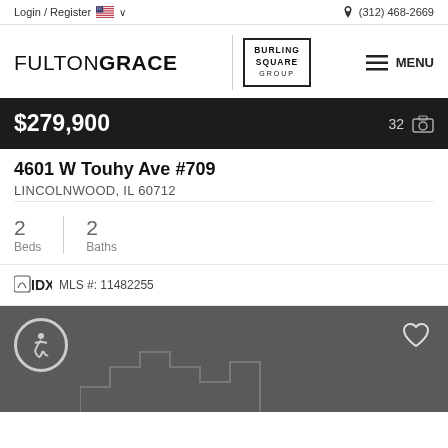Login / Register  🇺🇸 ∨    📞 (312) 468-2669
[Figure (logo): FultonGrace | Burling Square Group logo with menu button]
$279,900   32 📷
4601 W Touhy Ave #709
LINCOLNWOOD, IL 60712
2 Beds   2 Baths
MLS #: 11482255
[Figure (infographic): Dark grey accessibility and favorite section with building outline graphic]